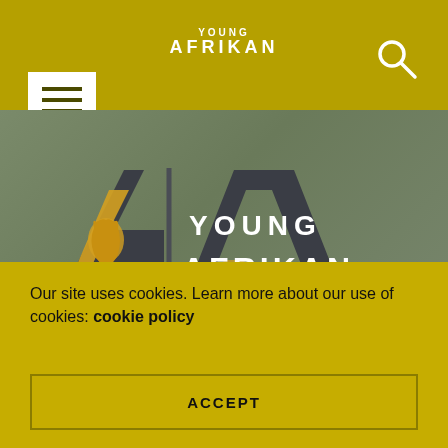YOUNG AFRIKAN
[Figure (logo): Young Afrikan logo on grey wall background with text '... the voice of Afrika's future']
Our site uses cookies. Learn more about our use of cookies: cookie policy
ACCEPT